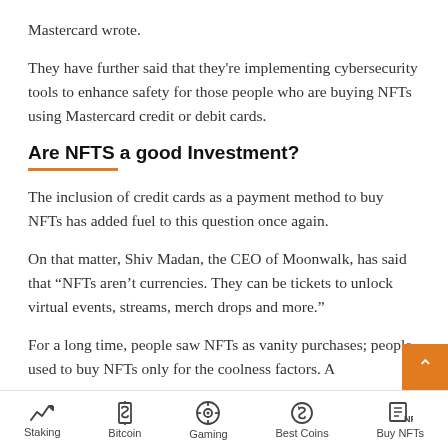Mastercard wrote.
They have further said that they're implementing cybersecurity tools to enhance safety for those people who are buying NFTs using Mastercard credit or debit cards.
Are NFTS a good Investment?
The inclusion of credit cards as a payment method to buy NFTs has added fuel to this question once again.
On that matter, Shiv Madan, the CEO of Moonwalk, has said that “NFTs aren’t currencies. They can be tickets to unlock virtual events, streams, merch drops and more.”
For a long time, people saw NFTs as vanity purchases; people used to buy NFTs only for the coolness factors. A
Staking | Bitcoin | Gaming | Best Coins | Buy NFTs